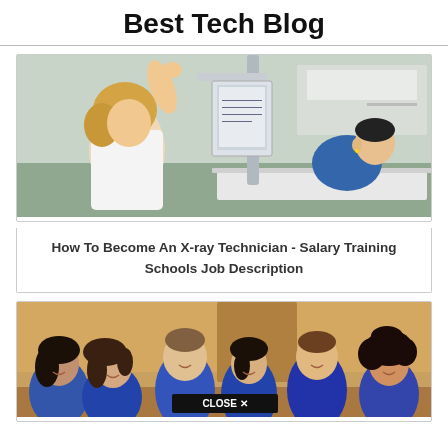Best Tech Blog
[Figure (photo): X-ray technician in white uniform reaching up to adjust X-ray equipment while a patient in blue scrubs lies on a table]
How To Become An X-ray Technician - Salary Training Schools Job Description
[Figure (photo): Group of six smiling young people in blue medical scrubs posing together, with a 'CLOSE X' button overlay at the bottom center]